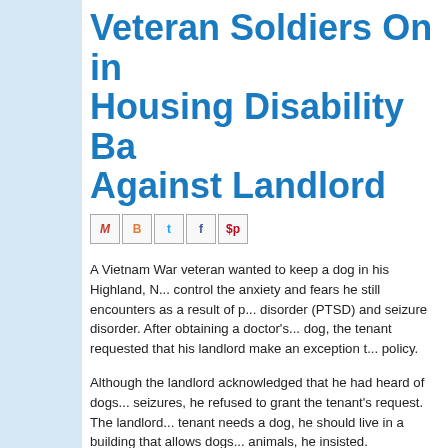Veteran Soldiers On in Housing Disability Ba Against Landlord
[Figure (other): Social sharing icons: Gmail (M), Blogger (B), Twitter (t), Facebook (f), Pinterest (p)]
A Vietnam War veteran wanted to keep a dog in his Highland, N... control the anxiety and fears he still encounters as a result of p... disorder (PTSD) and seizure disorder. After obtaining a doctor's... dog, the tenant requested that his landlord make an exception t... policy.
Although the landlord acknowledged that he had heard of dogs... seizures, he refused to grant the tenant's request. The landlord... tenant needs a dog, he should live in a building that allows dogs... animals, he insisted.
But federal law says otherwise, as the landlord is no doubt learn... no-pets policy may be perfectly legal as written, the Fair Housin... to grant tenants' requests to keep an animal as a reasonable ac... disabilit...